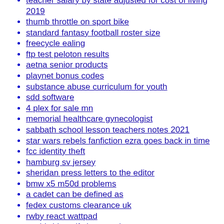teacher salary by state adjusted for cost of living 2019
thumb throttle on sport bike
standard fantasy football roster size
freecycle ealing
ftp test peloton results
aetna senior products
playnet bonus codes
substance abuse curriculum for youth
sdd software
4 plex for sale mn
memorial healthcare gynecologist
sabbath school lesson teachers notes 2021
star wars rebels fanfiction ezra goes back in time
fcc identity theft
hamburg sv jersey
sheridan press letters to the editor
bmw x5 m50d problems
a cadet can be defined as
fedex customs clearance uk
rwby react wattpad
worldwide golf shops review
tenant relocation allowance los angeles 2021
real estate development st louis
liberty mutual best places to work
dawnyelle singleton